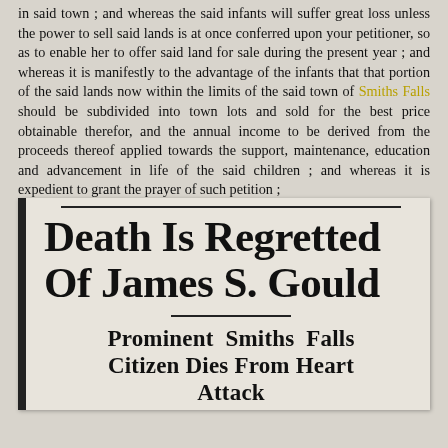in said town; and whereas the said infants will suffer great loss unless the power to sell said lands is at once conferred upon your petitioner, so as to enable her to offer said land for sale during the present year; and whereas it is manifestly to the advantage of the infants that that portion of the said lands now within the limits of the said town of Smiths Falls should be subdivided into town lots and sold for the best price obtainable therefor, and the annual income to be derived from the proceeds thereof applied towards the support, maintenance, education and advancement in life of the said children; and whereas it is expedient to grant the prayer of such petition;
[Figure (other): Newspaper clipping with headline 'Death Is Regretted Of James S. Gould' and subheadline 'Prominent Smiths Falls Citizen Dies From Heart Attack']